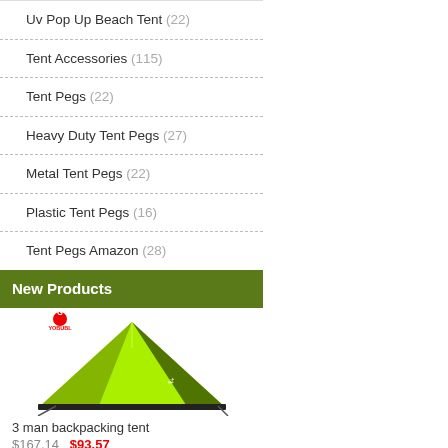Uv Pop Up Beach Tent (22)
Tent Accessories (115)
Tent Pegs (22)
Heavy Duty Tent Pegs (27)
Metal Tent Pegs (22)
Plastic Tent Pegs (16)
Tent Pegs Amazon (28)
New Products
[Figure (photo): Green triangle-style 3 man backpacking tent with YOBUBL logo, bright lime green color with dark floor]
3 man backpacking tent
$167.14   $93.57